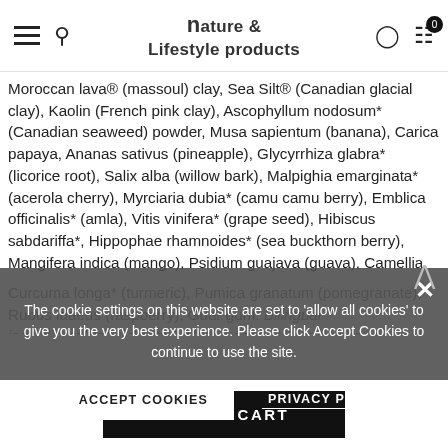Nature & Lifestyle products
Moroccan lava® (massoul) clay, Sea Silt® (Canadian glacial clay), Kaolin (French pink clay), Ascophyllum nodosum* (Canadian seaweed) powder, Musa sapientum (banana), Carica papaya, Ananas sativus (pineapple), Glycyrrhiza glabra* (licorice root), Salix alba (willow bark), Malpighia emarginata* (acerola cherry), Myrciaria dubia* (camu camu berry), Emblica officinalis* (amla), Vitis vinifera* (grape seed), Hibiscus sabdariffa*, Hippophae rhamnoides* (sea buckthorn berry), Mangifera indica (mango), Psidium guajava (guava), Camellia sinensis* (green tea), Lepidium meyenii* (Maca), Panax ginseng*, Echinacea purpurea*, Rosa canina* (rosehip), Fragaria ananassa (strawberry), Curcuma longa* (turmeric), Pumica granatum (pomegranate), Rubus idaeus (raspberry), Guar gum. Bilingual ingredients/*Ingrédients biologiques ou à l'état sauvage
The cookie settings on this website are set to 'allow all cookies' to give you the very best experience. Please click Accept Cookies to continue to use the site.
ACCEPT COOKIES
PRIVACY POLICY
ADD TO CART